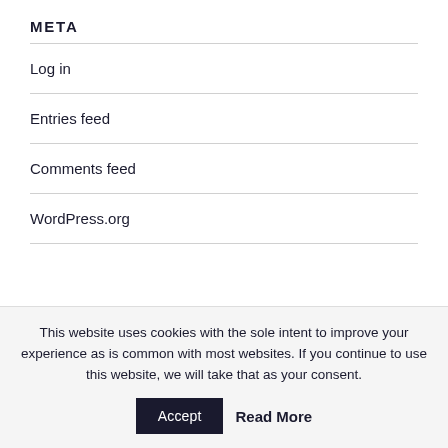META
Log in
Entries feed
Comments feed
WordPress.org
This website uses cookies with the sole intent to improve your experience as is common with most websites. If you continue to use this website, we will take that as your consent.
Accept   Read More